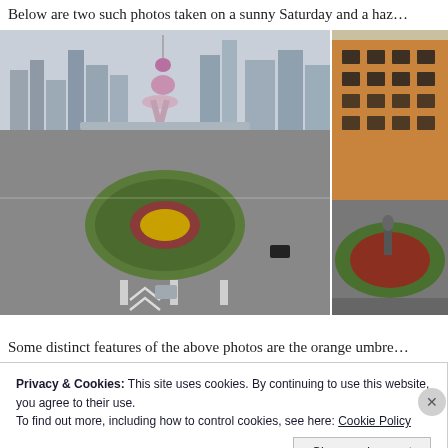Below are two such photos taken on a sunny Saturday and a haz…
[Figure (photo): Two side-by-side photos of a Shanghai roundabout intersection with the Oriental Pearl Tower visible in the background on a hazy/sunny day. Left photo shows the full roundabout with cars; right photo is partially cut off showing an adjacent street view.]
Some distinct features of the above photos are the orange umbre…
Privacy & Cookies: This site uses cookies. By continuing to use this website, you agree to their use. To find out more, including how to control cookies, see here: Cookie Policy
Close and accept